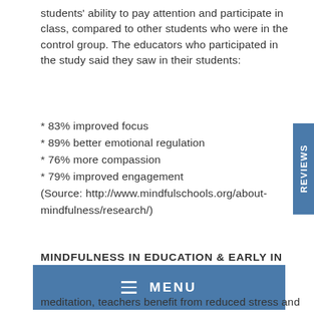students' ability to pay attention and participate in class, compared to other students who were in the control group. The educators who participated in the study said they saw in their students:
* 83% improved focus
* 89% better emotional regulation
* 76% more compassion
* 79% improved engagement
(Source: http://www.mindfulschools.org/about-mindfulness/research/)
MINDFULNESS IN EDUCATION & EARLY IN LIFE:
meditation, teachers benefit from reduced stress and